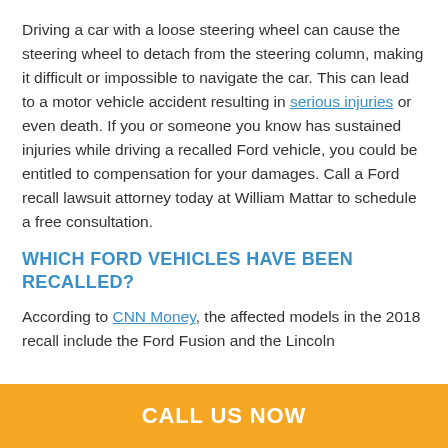Driving a car with a loose steering wheel can cause the steering wheel to detach from the steering column, making it difficult or impossible to navigate the car. This can lead to a motor vehicle accident resulting in serious injuries or even death. If you or someone you know has sustained injuries while driving a recalled Ford vehicle, you could be entitled to compensation for your damages. Call a Ford recall lawsuit attorney today at William Mattar to schedule a free consultation.
WHICH FORD VEHICLES HAVE BEEN RECALLED?
According to CNN Money, the affected models in the 2018 recall include the Ford Fusion and the Lincoln
CALL US NOW